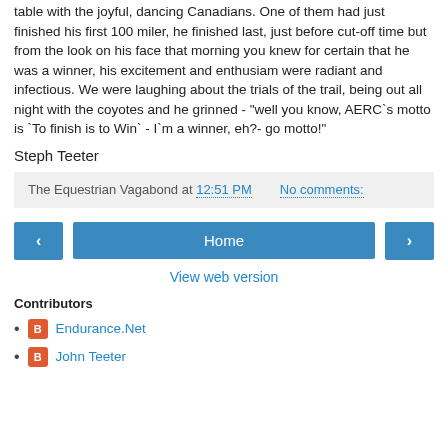table with the joyful, dancing Canadians. One of them had just finished his first 100 miler, he finished last, just before cut-off time but from the look on his face that morning you knew for certain that he was a winner, his excitement and enthusiam were radiant and infectious. We were laughing about the trials of the trail, being out all night with the coyotes and he grinned - "well you know, AERC`s motto is `To finish is to Win` - I`m a winner, eh?- go motto!"
Steph Teeter
The Equestrian Vagabond at 12:51 PM   No comments:
< Home >
View web version
Contributors
Endurance.Net
John Teeter